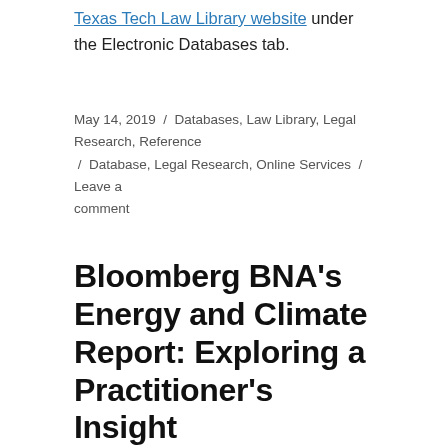available through the Texas Tech Law Library website under the Electronic Databases tab.
May 14, 2019  /  Databases, Law Library, Legal Research, Reference  /  Database, Legal Research, Online Services  /  Leave a comment
Bloomberg BNA’s Energy and Climate Report: Exploring a Practitioner’s Insight
This is the last in a four part series blog post spotlighting Bloomberg BNA’s Energy and Climate Report.